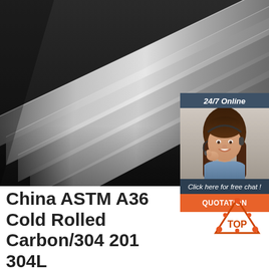[Figure (photo): Photo of stainless/carbon steel flat bars arranged in parallel rows on a dark surface, showing metallic silver finish]
[Figure (infographic): 24/7 Online chat widget with a female customer service representative wearing headset, with 'Click here for free chat!' text and orange QUOTATION button]
China ASTM A36 Cold Rolled Carbon/304 201 304L
ASTM a36 cold /hot rolled carbon/304 201 304L 316 316L stainless/galvanized steel MS